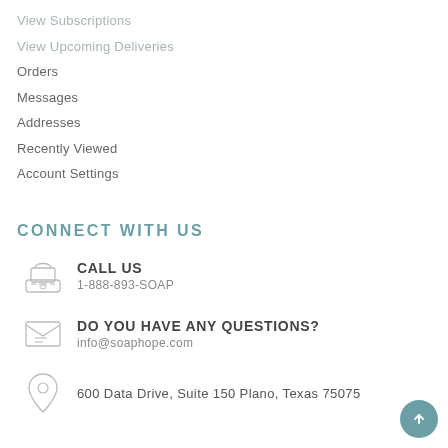View Subscriptions
View Upcoming Deliveries
Orders
Messages
Addresses
Recently Viewed
Account Settings
CONNECT WITH US
CALL US
1-888-893-SOAP
DO YOU HAVE ANY QUESTIONS?
info@soaphope.com
600 Data Drive, Suite 150 Plano, Texas 75075